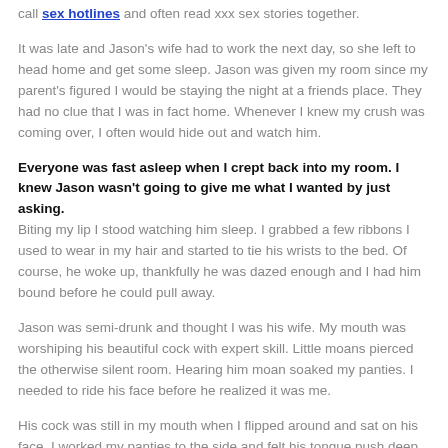call sex hotlines and often read xxx sex stories together.
It was late and Jason's wife had to work the next day, so she left to head home and get some sleep. Jason was given my room since my parent's figured I would be staying the night at a friends place. They had no clue that I was in fact home. Whenever I knew my crush was coming over, I often would hide out and watch him.
Everyone was fast asleep when I crept back into my room. I knew Jason wasn't going to give me what I wanted by just asking. Biting my lip I stood watching him sleep. I grabbed a few ribbons I used to wear in my hair and started to tie his wrists to the bed. Of course, he woke up, thankfully he was dazed enough and I had him bound before he could pull away.
Jason was semi-drunk and thought I was his wife. My mouth was worshiping his beautiful cock with expert skill. Little moans pierced the otherwise silent room. Hearing him moan soaked my panties. I needed to ride his face before he realized it was me.
His cock was still in my mouth when I flipped around and sat on his face. I worked my panties to the side and felt his tongue push deep inside of my virgin pussy. My pussy squirted